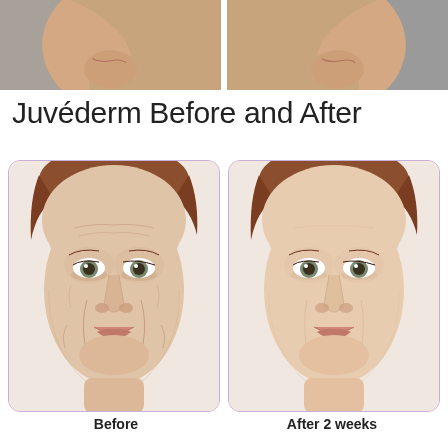[Figure (photo): Two cropped side-profile photos of a person's lower face/jaw area, before and after treatment, shown as a top strip]
Juvéderm Before and After
[Figure (photo): Before photo: frontal face portrait of a middle-aged woman with reddish-brown hair, showing facial lines and wrinkles before Juvéderm treatment]
[Figure (photo): After photo: same woman 2 weeks after Juvéderm treatment, showing reduced facial lines and smoother appearance]
Before
After 2 weeks